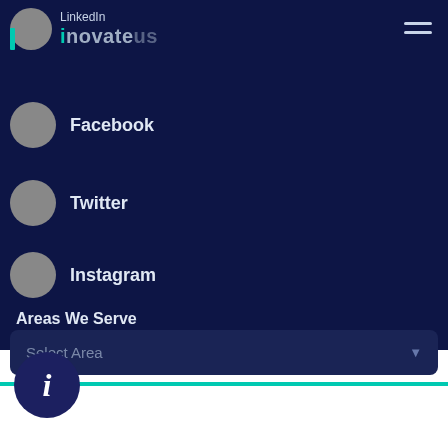[Figure (screenshot): Novateus website navigation menu open on dark navy background showing social media links: LinkedIn, Facebook, Twitter, Instagram, and an 'Areas We Serve' dropdown with 'Select Area' placeholder. Bottom portion shows a Drift chat widget with 'How can we help? We're here for you!' message and a 'Reply to Novateus' input field.]
LinkedIn
Facebook
Twitter
Instagram
Areas We Serve
Select Area
Novateus
How can we help? We're here for you!
Reply to Novateus
Chat ⚡ by Drift